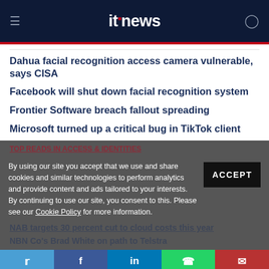itnews
Dahua facial recognition access camera vulnerable, says CISA
Facebook will shut down facial recognition system
Frontier Software breach fallout spreading
Microsoft turned up a critical bug in TikTok client
By using our site you accept that we use and share cookies and similar technologies to perform analytics and provide content and ads tailored to your interests. By continuing to use our site, you consent to this. Please see our Cookie Policy for more information.